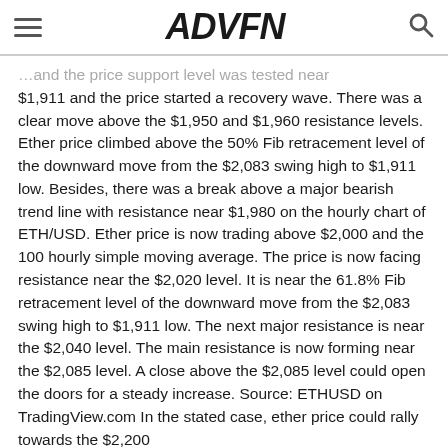ADVFN
$1,911 and the price started a recovery wave. There was a clear move above the $1,950 and $1,960 resistance levels. Ether price climbed above the 50% Fib retracement level of the downward move from the $2,083 swing high to $1,911 low. Besides, there was a break above a major bearish trend line with resistance near $1,980 on the hourly chart of ETH/USD. Ether price is now trading above $2,000 and the 100 hourly simple moving average. The price is now facing resistance near the $2,020 level. It is near the 61.8% Fib retracement level of the downward move from the $2,083 swing high to $1,911 low. The next major resistance is near the $2,040 level. The main resistance is now forming near the $2,085 level. A close above the $2,085 level could open the doors for a steady increase. Source: ETHUSD on TradingView.com In the stated case, ether price could rally towards the $2,200